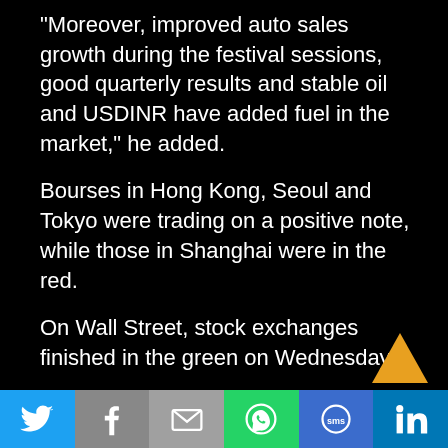“Moreover, improved auto sales growth during the festival sessions, good quarterly results and stable oil and USDINR have added fuel in the market,” he added.
Bourses in Hong Kong, Seoul and Tokyo were trading on a positive note, while those in Shanghai were in the red.
On Wall Street, stock exchanges finished in the green on Wednesday.
The rupee, meanwhile, appreciated 6 paise against the US dollar to trade at 70.83 in early session.
Brent futures, the global oil benchmark, rose 0.35 percent to USD 60.45 per barrel.
[Figure (infographic): Social sharing footer bar with Twitter, Facebook, Email, WhatsApp, SMS, LinkedIn icons]